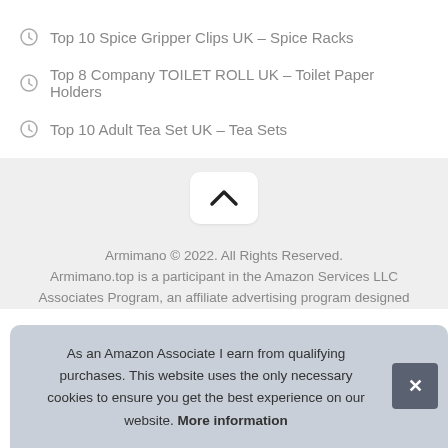Top 10 Spice Gripper Clips UK – Spice Racks
Top 8 Company TOILET ROLL UK – Toilet Paper Holders
Top 10 Adult Tea Set UK – Tea Sets
[Figure (other): Back to top chevron button]
Armimano © 2022. All Rights Reserved. Armimano.top is a participant in the Amazon Services LLC Associates Program, an affiliate advertising program designed
As an Amazon Associate I earn from qualifying purchases. This website uses the only necessary cookies to ensure you get the best experience on our website. More information